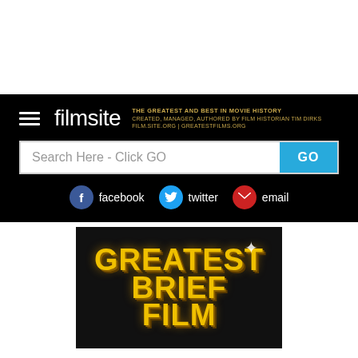[Figure (screenshot): White top area of webpage]
filmsite — THE GREATEST AND BEST IN MOVIE HISTORY | CREATED, MANAGED, AUTHORED BY FILM HISTORIAN TIM DIRKS | FILM.SITE.ORG | GREATESTFILMS.ORG
Search Here - Click GO
facebook  twitter  email
[Figure (illustration): GREATEST BRIEF FILM text logo on dark background with gold 3D lettering and sparkle]